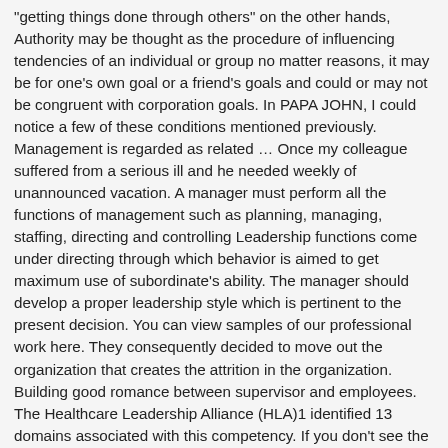"getting things done through others" on the other hands, Authority may be thought as the procedure of influencing tendencies of an individual or group no matter reasons, it may be for one's own goal or a friend's goals and could or may not be congruent with corporation goals. In PAPA JOHN, I could notice a few of these conditions mentioned previously. Management is regarded as related … Once my colleague suffered from a serious ill and he needed weekly of unannounced vacation. A manager must perform all the functions of management such as planning, managing, staffing, directing and controlling Leadership functions come under directing through which behavior is aimed to get maximum use of subordinate's ability. The manager should develop a proper leadership style which is pertinent to the present decision. You can view samples of our professional work here. They consequently decided to move out the organization that creates the attrition in the organization. Building good romance between supervisor and employees. The Healthcare Leadership Alliance (HLA)1 identified 13 domains associated with this competency. If you don't see the necessary subject, paper type, or topic in our list of available services and examples, don't worry! That were left with NO VALUE CREATION on the employees towards the business. So, a person high in introversion might be tranquil and reserved, while an individual saturated in extraversion might be sociable and outgoing. If management is reactive, leadership is proactive. He finds employee